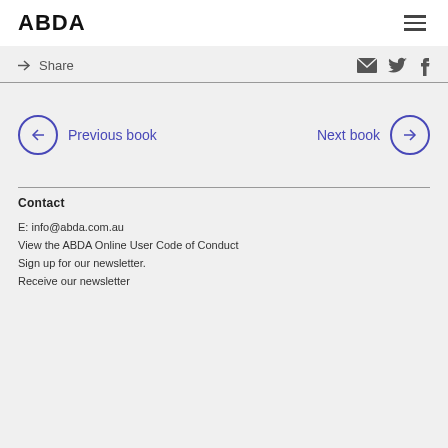ABDA
→ Share
Previous book
Next book
Contact
E: info@abda.com.au
View the ABDA Online User Code of Conduct
Sign up for our newsletter.
Receive our newsletter